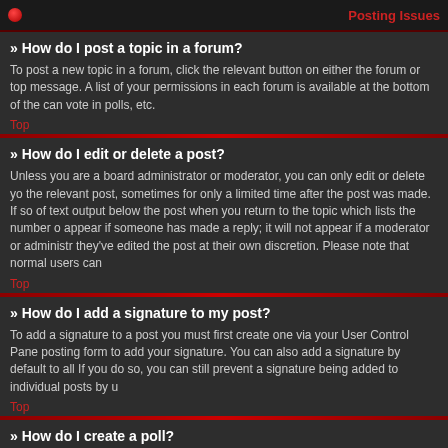Posting Issues
» How do I post a topic in a forum?
To post a new topic in a forum, click the relevant button on either the forum or top message. A list of your permissions in each forum is available at the bottom of the can vote in polls, etc.
Top
» How do I edit or delete a post?
Unless you are a board administrator or moderator, you can only edit or delete yo the relevant post, sometimes for only a limited time after the post was made. If so of text output below the post when you return to the topic which lists the number o appear if someone has made a reply; it will not appear if a moderator or administr they've edited the post at their own discretion. Please note that normal users can
Top
» How do I add a signature to my post?
To add a signature to a post you must first create one via your User Control Pane posting form to add your signature. You can also add a signature by default to all If you do so, you can still prevent a signature being added to individual posts by u
Top
» How do I create a poll?
When posting a new topic or editing the first post of a topic, click the "Poll creatio not have appropriate permissions to create polls. Enter a title and at least two opt separate line in the textarea. You can also set the number of options users may s for the poll (0 for infinite duration) and lastly the option to allow users to amo